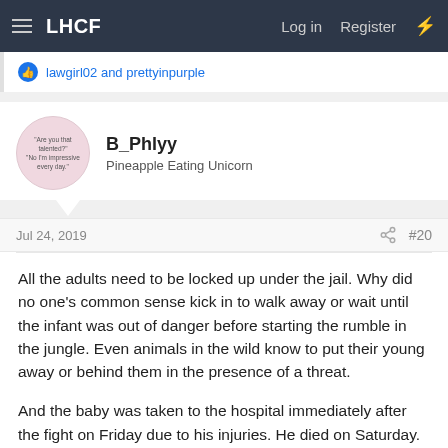LHCF  Log in  Register
lawgirl02 and prettyinpurple
B_Phlyy
Pineapple Eating Unicorn
Jul 24, 2019  #20
All the adults need to be locked up under the jail. Why did no one's common sense kick in to walk away or wait until the infant was out of danger before starting the rumble in the jungle. Even animals in the wild know to put their young away or behind them in the presence of a threat.

And the baby was taken to the hospital immediately after the fight on Friday due to his injuries. He died on Saturday. There was no delay in the baby getting medical attention.